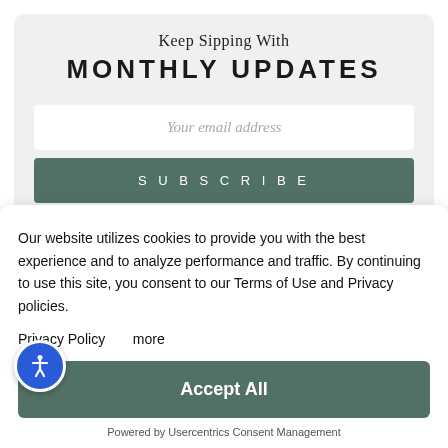Keep Sipping With MONTHLY UPDATES
Your email address
SUBSCRIBE
Our website utilizes cookies to provide you with the best experience and to analyze performance and traffic. By continuing to use this site, you consent to our Terms of Use and Privacy policies.
Privacy Policy   more
Accept All
Powered by Usercentrics Consent Management